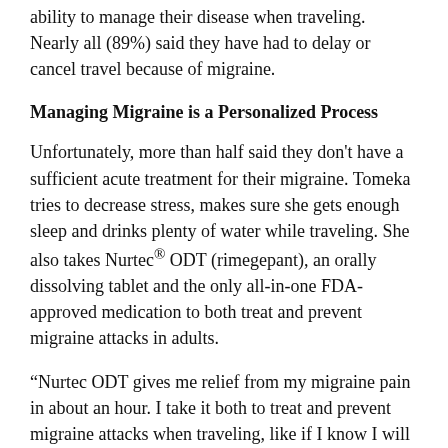ability to manage their disease when traveling. Nearly all (89%) said they have had to delay or cancel travel because of migraine.
Managing Migraine is a Personalized Process
Unfortunately, more than half said they don't have a sufficient acute treatment for their migraine. Tomeka tries to decrease stress, makes sure she gets enough sleep and drinks plenty of water while traveling. She also takes Nurtec® ODT (rimegepant), an orally dissolving tablet and the only all-in-one FDA-approved medication to both treat and prevent migraine attacks in adults.
“Nurtec ODT gives me relief from my migraine pain in about an hour. I take it both to treat and prevent migraine attacks when traveling, like if I know I will be facing triggers such as lack of sleep or dietary changes. I did experience some success when I first started...